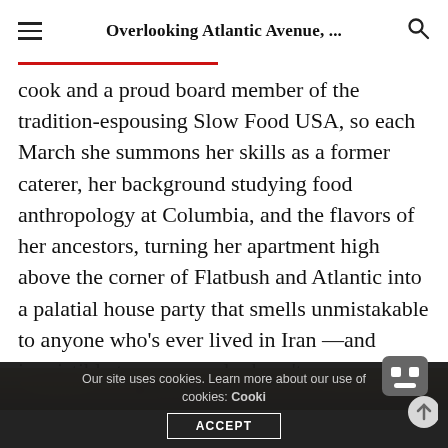Overlooking Atlantic Avenue, ...
cook and a proud board member of the tradition-espousing Slow Food USA, so each March she summons her skills as a former caterer, her background studying food anthropology at Columbia, and the flavors of her ancestors, turning her apartment high above the corner of Flatbush and Atlantic into a palatial house party that smells unmistakable to anyone who’s ever lived in Iran —and irresistible to anyone who hasn’t.
[Figure (photo): Partial view of food photograph at bottom of page]
Our site uses cookies. Learn more about our use of cookies: Cookie Policy
ACCEPT